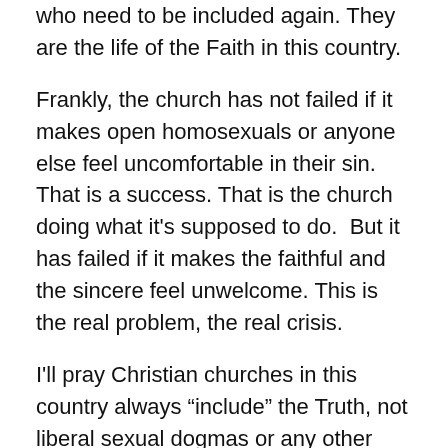who need to be included again. They are the life of the Faith in this country.
Frankly, the church has not failed if it makes open homosexuals or anyone else feel uncomfortable in their sin. That is a success. That is the church doing what it's supposed to do.  But it has failed if it makes the faithful and the sincere feel unwelcome. This is the real problem, the real crisis.
I'll pray Christian churches in this country always “include” the Truth, not liberal sexual dogmas or any other form of blasphemy.
As for you, I'll pray you leave your sin behind and come to Christ remorseful and empty handed, ready to be His servant.
And so...